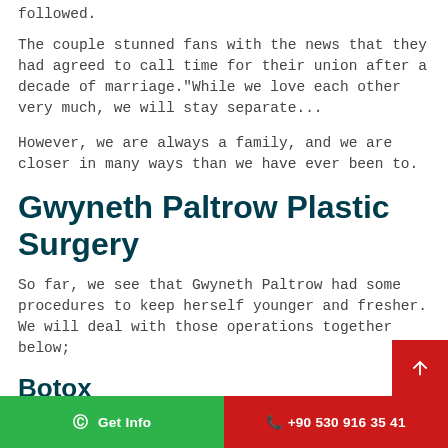followed.
The couple stunned fans with the news that they had agreed to call time for their union after a decade of marriage."While we love each other very much, we will stay separate...
However, we are always a family, and we are closer in many ways than we have ever been to.
Gwyneth Paltrow Plastic Surgery
So far, we see that Gwyneth Paltrow had some procedures to keep herself younger and fresher. We will deal with those operations together below;
Botox
Botox Cosmetic is a muscle relaxer with an injectable wrin
Get Info   +90 530 916 35 41